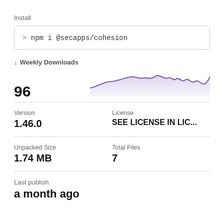Install
> npm i @secapps/cohesion
↓ Weekly Downloads
[Figure (area-chart): Area chart showing weekly downloads over time, with purple line and shaded area, value approximately ranging from ~60 to ~130 weekly downloads.]
96
Version
1.46.0
License
SEE LICENSE IN LIC...
Unpacked Size
1.74 MB
Total Files
7
Last publish
a month ago